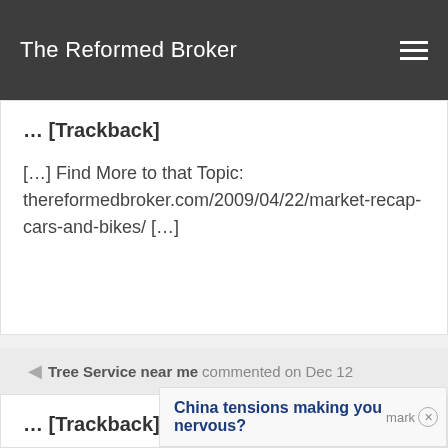The Reformed Broker
... [Trackback]
[...] Find More to that Topic: thereformedbroker.com/2009/04/22/market-recap-cars-and-bikes/ [...]
Tree Service near me commented on Dec 12
... [Trackback]
[...] Info on that Topic:
China tensions making you nervous?